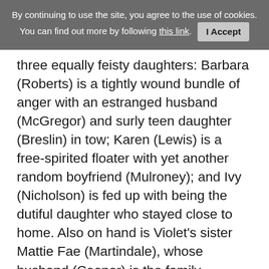By continuing to use the site, you agree to the use of cookies. You can find out more by following this link. I Accept
three equally feisty daughters: Barbara (Roberts) is a tightly wound bundle of anger with an estranged husband (McGregor) and surly teen daughter (Breslin) in tow; Karen (Lewis) is a free-spirited floater with yet another random boyfriend (Mulroney); and Ivy (Nicholson) is fed up with being the dutiful daughter who stayed close to home. Also on hand is Violet's sister Mattie Fae (Martindale), whose husband (Cooper) is the family patriarch now that Beverly is gone, which means their son (Cumberbatch) feels even more useless than normal.
What plot there is centres on skeletons rattling out of closets and relationships imploding spectacularly. The film is a series of brutally intense encounters between people who probably still love each other in